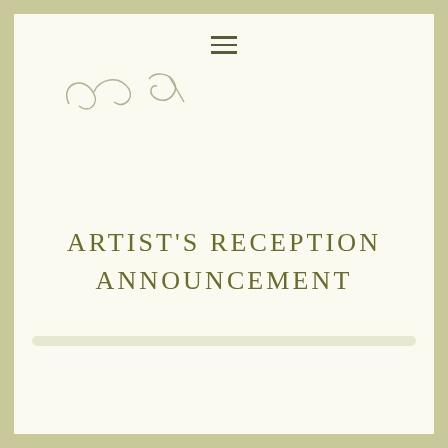[Figure (logo): Decorative script logo mark with cursive letterforms suggesting initials, rendered in light gray]
ARTIST'S RECEPTION ANNOUNCEMENT
[Figure (other): Thin horizontal light beige/cream divider bar]